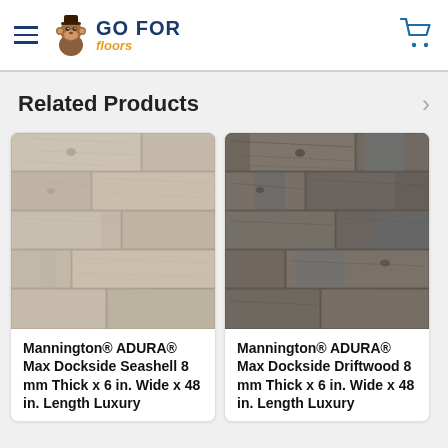Go For Floors - navigation header with hamburger menu and cart icon
Related Products
[Figure (photo): Mannington ADURA Max Dockside Seashell flooring product image - light grey/beige wood grain luxury vinyl plank]
Mannington® ADURA® Max Dockside Seashell 8 mm Thick x 6 in. Wide x 48 in. Length Luxury
[Figure (photo): Mannington ADURA Max Dockside Driftwood flooring product image - darker grey/brown wood grain luxury vinyl plank]
Mannington® ADURA® Max Dockside Driftwood 8 mm Thick x 6 in. Wide x 48 in. Length Luxury